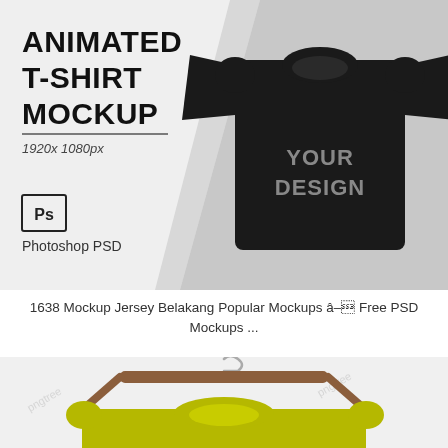[Figure (illustration): Animated T-Shirt Mockup product image showing a black t-shirt with 'YOUR DESIGN' placeholder text, on a grey diagonal split background. Includes Photoshop PSD branding and resolution label 1920x 1080px.]
1638 Mockup Jersey Belakang Popular Mockups â Free PSD Mockups ...
[Figure (photo): Yellow/olive t-shirt on a wooden hanger with a metal hook, displayed against a light grey background with 'pngtree' watermark text.]